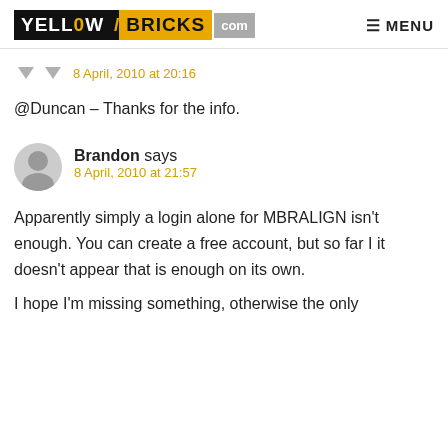YELLOW/BRICKS.com  MENU
8 April, 2010 at 20:16
@Duncan – Thanks for the info.
Brandon says
8 April, 2010 at 21:57
Apparently simply a login alone for MBRALIGN isn't enough. You can create a free account, but so far I it doesn't appear that is enough on its own.
I hope I'm missing something, otherwise the only